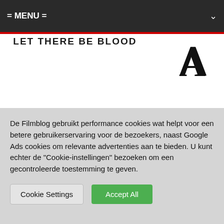= MENU =
LET THERE BE BLOOD
[Figure (logo): Capital letter A logo in black, stylized with serif details, used as site icon]
Leave a Comment
Het e-mailadres wordt niet gepubliceerd. Verplichte velden zijn...
De Filmblog gebruikt performance cookies wat helpt voor een betere gebruikerservaring voor de bezoekers, naast Google Ads cookies om relevante advertenties aan te bieden. U kunt echter de "Cookie-instellingen" bezoeken om een gecontroleerde toestemming te geven.
Cookie Settings | Accept All